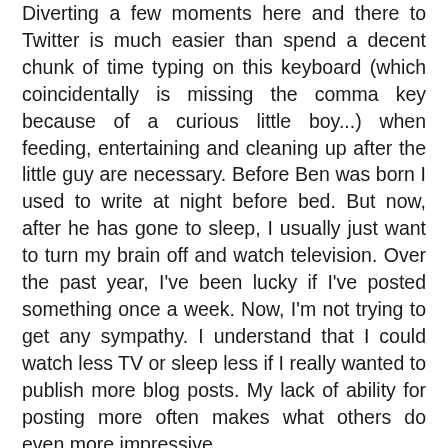Diverting a few moments here and there to Twitter is much easier than spend a decent chunk of time typing on this keyboard (which coincidentally is missing the comma key because of a curious little boy...) when feeding, entertaining and cleaning up after the little guy are necessary. Before Ben was born I used to write at night before bed. But now, after he has gone to sleep, I usually just want to turn my brain off and watch television. Over the past year, I've been lucky if I've posted something once a week. Now, I'm not trying to get any sympathy. I understand that I could watch less TV or sleep less if I really wanted to publish more blog posts. My lack of ability for posting more often makes what others do even more impressive.
Time isn't the only limiting factor. Coming up with ideas is almost as difficult as finding the time to put those ideas into a form that other people might want to read. Yes, I do respect the writers that are able to write something every single day. I don't care if some of the topics are repetitive, banal or vexatious, daily publishing is still impressive.
I started this blog as more of a journal to catalog my